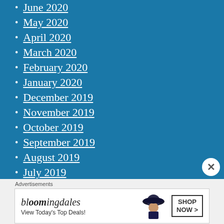June 2020
May 2020
April 2020
March 2020
February 2020
January 2020
December 2019
November 2019
October 2019
September 2019
August 2019
July 2019
March 2019
[Figure (illustration): Bloomingdale's advertisement banner showing logo, tagline 'View Today's Top Deals!', woman with large hat, and 'SHOP NOW >' button]
Advertisements